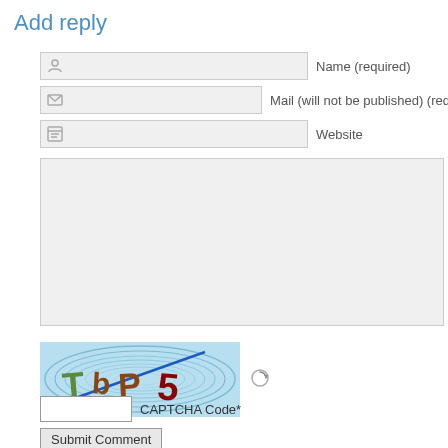Add reply
Name (required)
Mail (will not be published) (req
Website
[Figure (screenshot): Large text area input box for comment body]
[Figure (screenshot): CAPTCHA image with wavy blue background showing characters TbP5 with a blue diagonal line through them, and a refresh icon]
CAPTCHA Code*
Submit Comment